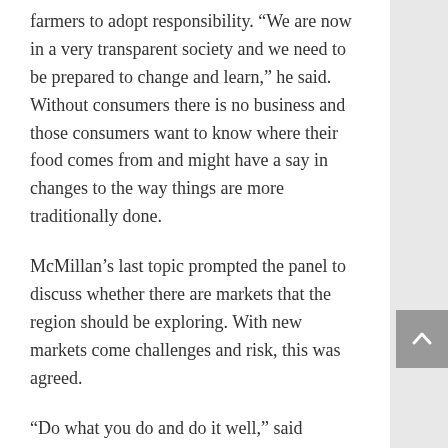farmers to adopt responsibility. “We are now in a very transparent society and we need to be prepared to change and learn,” he said. Without consumers there is no business and those consumers want to know where their food comes from and might have a say in changes to the way things are more traditionally done.
McMillan’s last topic prompted the panel to discuss whether there are markets that the region should be exploring. With new markets come challenges and risk, this was agreed.
“Do what you do and do it well,” said Adams. He didn’t want to discourage anyone from trying a new market but said it is an enormous undertaking to create change, so if you must then “do it with knowledge and ask questions.”
Stewart and Sullivan collaborated on the idea of